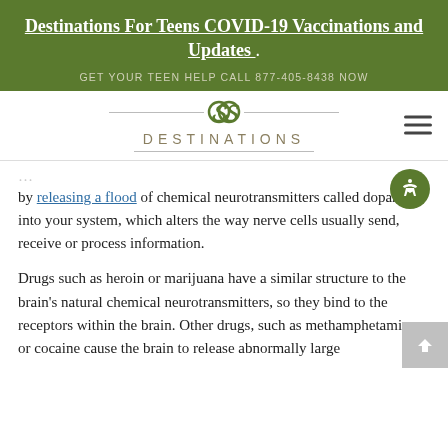Destinations For Teens COVID-19 Vaccinations and Updates
GET YOUR TEEN HELP CALL 877-405-8438 NOW
[Figure (logo): Destinations for Teens logo with stylized interlinked circles and horizontal lines]
by releasing a flood of chemical neurotransmitters called dopamine into your system, which alters the way nerve cells usually send, receive or process information.
Drugs such as heroin or marijuana have a similar structure to the brain's natural chemical neurotransmitters, so they bind to the receptors within the brain. Other drugs, such as methamphetamine or cocaine cause the brain to release abnormally large